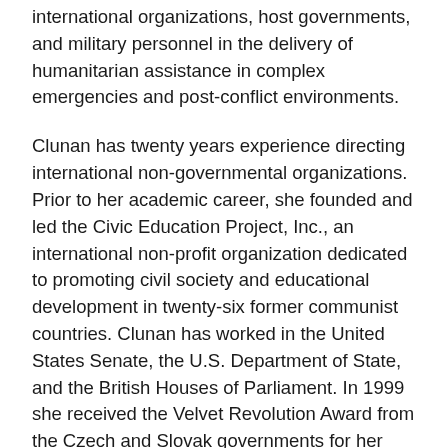international organizations, host governments, and military personnel in the delivery of humanitarian assistance in complex emergencies and post-conflict environments.
Clunan has twenty years experience directing international non-governmental organizations. Prior to her academic career, she founded and led the Civic Education Project, Inc., an international non-profit organization dedicated to promoting civil society and educational development in twenty-six former communist countries. Clunan has worked in the United States Senate, the U.S. Department of State, and the British Houses of Parliament. In 1999 she received the Velvet Revolution Award from the Czech and Slovak governments for her work promoting democracy and friendship between the peoples of the Czech and Slovak Republics and the United States of America. In 2012, the U.S. Defense Threat Reduction Agency honored her with the Director's Award for Outstanding Service.